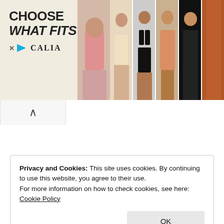[Figure (photo): Advertisement banner for CALIA swimwear brand. Left side shows 'CHOOSE WHAT FITS' text in bold with the CALIA logo. Right side shows multiple swimwear model photos in a strip layout.]
Privacy and Cookies: This site uses cookies. By continuing to use this website, you agree to their use.
For more information on how to check cookies, see here: Cookie Policy
OK